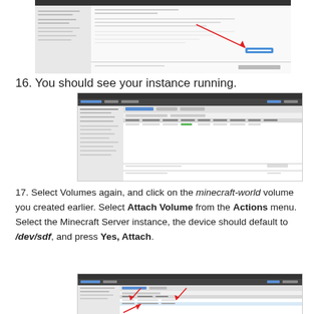[Figure (screenshot): Screenshot of AWS console showing a configuration page with a red arrow pointing to a button, cropped top portion]
[Figure (screenshot): Screenshot of AWS EC2 instances console showing running instance]
16. You should see your instance running.
17. Select Volumes again, and click on the minecraft-world volume you created earlier. Select Attach Volume from the Actions menu. Select the Minecraft Server instance, the device should default to /dev/sdf, and press Yes, Attach.
[Figure (screenshot): Screenshot of AWS EC2 Volumes console showing volume attachment with red arrows]